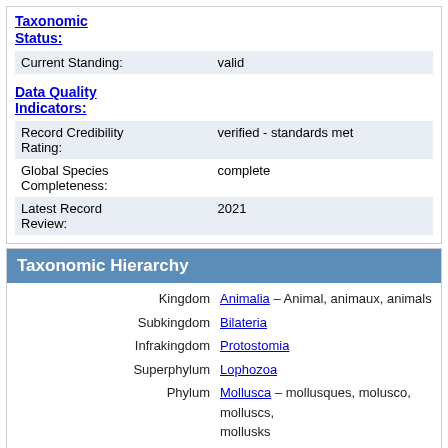Taxonomic Status:
| Current Standing: | valid |
Data Quality Indicators:
| Record Credibility Rating: | verified - standards met |
| Global Species Completeness: | complete |
| Latest Record Review: | 2021 |
Taxonomic Hierarchy
| Rank | Taxon |
| --- | --- |
| Kingdom | Animalia – Animal, animaux, animals |
| Subkingdom | Bilateria |
| Infrakingdom | Protostomia |
| Superphylum | Lophozoa |
| Phylum | Mollusca – mollusques, molusco, molluscs, mollusks |
| Class | Bivalvia Linnaeus, 1758 – bivalves, clams, bivalves, palourdes, bivalve, mexilhão, ostra |
| Subclass | Palaeoheterodonta Newell, 1965 |
| Order | Unionoida Stoliczka, 1871 |
| Superfamily | Unionoidea Rafinesque, 1820 |
| Family | Unionidae Rafinesque, 1820 |
| Subfamily | Ambleminae Rafinesque, 1820 |
| Tribe | Quadrulini Ihering, 1901 |
| Genus | Cyclonaias Pilsbry in Ortmann & Walker |